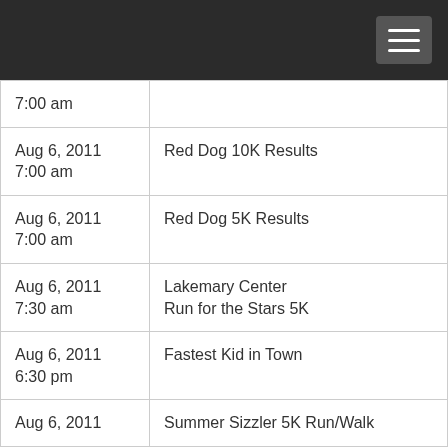| Date/Time | Event |
| --- | --- |
| 7:00 am |  |
| Aug 6, 2011
7:00 am | Red Dog 10K Results |
| Aug 6, 2011
7:00 am | Red Dog 5K Results |
| Aug 6, 2011
7:30 am | Lakemary Center
Run for the Stars 5K |
| Aug 6, 2011
6:30 pm | Fastest Kid in Town |
| Aug 6, 2011 | Summer Sizzler 5K Run/Walk |